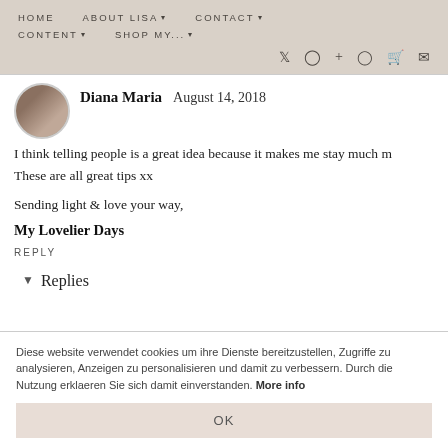HOME  ABOUT LISA  CONTACT  CONTENT  SHOP MY...
Diana Maria  August 14, 2018
I think telling people is a great idea because it makes me stay much m... These are all great tips xx

Sending light & love your way,

My Lovelier Days

REPLY
▾ Replies
Diese website verwendet cookies um ihre Dienste bereitzustellen, Zugriffe zu analysieren, Anzeigen zu personalisieren und damit zu verbessern. Durch die Nutzung erklaeren Sie sich damit einverstanden. More info
OK